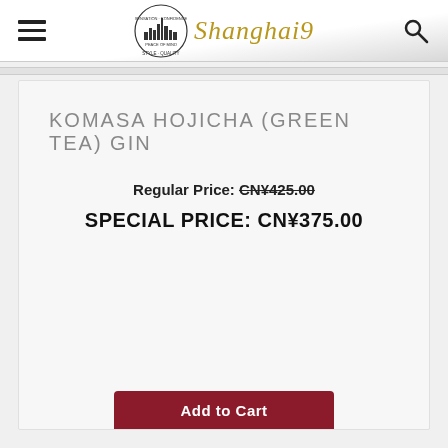Shanghai9 navigation header with hamburger menu, logo, and search icon
KOMASA HOJICHA (GREEN TEA) GIN
Regular Price: CN¥425.00
SPECIAL PRICE: CN¥375.00
Add to Cart